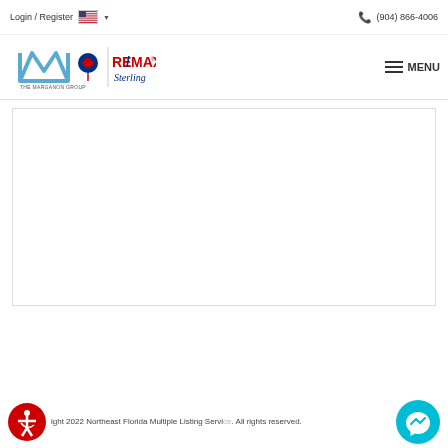Login / Register  (904) 866-4006
[Figure (logo): The Marganon Group and RE/MAX Sterling logo with hamburger MENU button]
[Figure (other): White content/map area placeholder with border]
Copyright 2022 Northeast Florida Multiple Listing Service. All rights reserved.